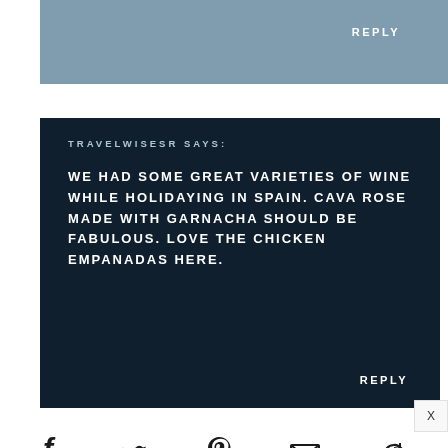REPLY
TRAVELWISESR SAYS:
WE HAD SOME GREAT VARIETIES OF WINE WHILE HOLIDAYING IN SPAIN. CAVA ROSE MADE WITH GARNACHA SHOULD BE FABULOUS. LOVE THE CHICKEN EMPANADAS HERE.
REPLY
[Figure (infographic): Social share bar with Facebook (count: 2), Twitter, Pinterest (count: 3), Email, and a circular arrow icon]
X